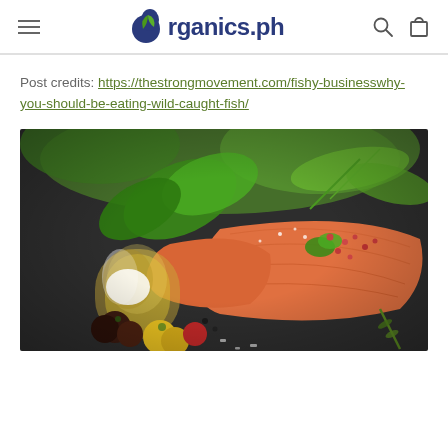organics.ph
Post credits: https://thestrongmovement.com/fishy-businesswhy-you-should-be-eating-wild-caught-fish/
[Figure (photo): Raw salmon fillets with fresh herbs (basil, parsley, rosemary, dill), cherry tomatoes, a jar of olive oil, and coarse salt on a dark slate surface]